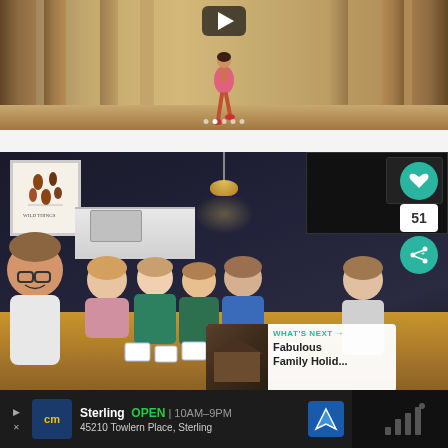[Figure (screenshot): A person in a pink floral dress walking through a stone colonnade corridor, with a video play button overlay at the top center and dot navigation indicators at the bottom.]
[Figure (photo): A family group selfie at a wooden dining table. Several adults and children smiling at the camera in a dark-themed modern kitchen. Social interaction buttons (heart/like count 51, share) visible on the right. A 'What's Next' overlay in the bottom right corner shows a thumbnail image of a house and text 'Fabulous Family Holid...']
[Figure (screenshot): An advertisement banner at the bottom for a furniture store. Shows a 'cm' logo in yellow on blue background, store name 'Sterling', hours 'OPEN | 10AM-9PM', address '45210 Towlern Place, Sterling', and a blue navigation arrow icon. Right side shows a dark panel with a wifi-style icon.]